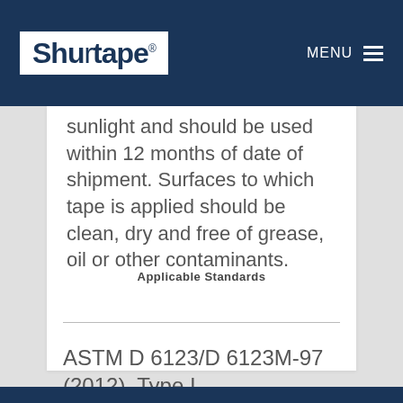Shurtape® MENU
sunlight and should be used within 12 months of date of shipment. Surfaces to which tape is applied should be clean, dry and free of grease, oil or other contaminants.
Applicable Standards
ASTM D 6123/D 6123M-97 (2012), Type I